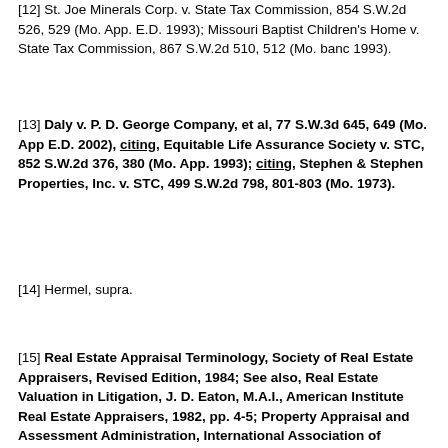[12] St. Joe Minerals Corp. v. State Tax Commission, 854 S.W.2d 526, 529 (Mo. App. E.D. 1993); Missouri Baptist Children's Home v. State Tax Commission, 867 S.W.2d 510, 512 (Mo. banc 1993).
[13] Daly v. P. D. George Company, et al, 77 S.W.3d 645, 649 (Mo. App E.D. 2002), citing, Equitable Life Assurance Society v. STC, 852 S.W.2d 376, 380 (Mo. App. 1993); citing, Stephen & Stephen Properties, Inc. v. STC, 499 S.W.2d 798, 801-803 (Mo. 1973).
[14] Hermel, supra.
[15] Real Estate Appraisal Terminology, Society of Real Estate Appraisers, Revised Edition, 1984; See also, Real Estate Valuation in Litigation, J. D. Eaton, M.A.I., American Institute Real Estate Appraisers, 1982, pp. 4-5; Property Appraisal and Assessment Administration, International Association of Assessing